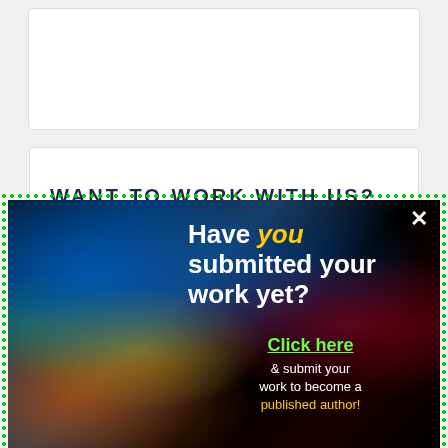[Figure (other): White card placeholder at top of page]
WANT TO WORK WITH US?
[Figure (infographic): Popup advertisement over a colorful world map background with green dotted border. Text reads: 'Have you submitted your work yet? Click here & submit your work to become a published author!' with a close X button in top right.]